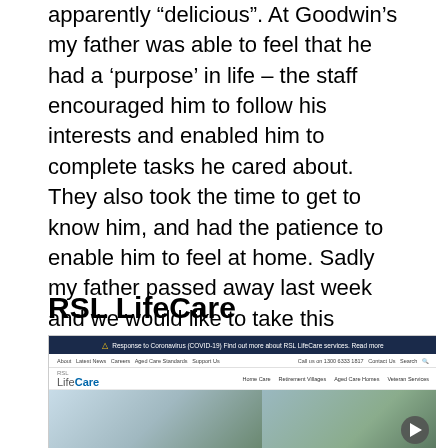apparently “delicious”. At Goodwin’s my father was able to feel that he had a ‘purpose’ in life – the staff encouraged him to follow his interests and enabled him to complete tasks he cared about. They also took the time to get to know him, and had the patience to enable him to feel at home. Sadly my father passed away last week and we would like to take this opportunity to thank everyone at Goodwin, its a very special place.” – Karin Raven
RSL LifeCare
[Figure (screenshot): Screenshot of the RSL LifeCare website showing navigation bar with COVID-19 notice, site navigation links, RSL LifeCare logo, main navigation items (Home Care, Retirement Villages, Aged Care Homes, Veteran Services), and a hero image of an outdoor structure with trees.]